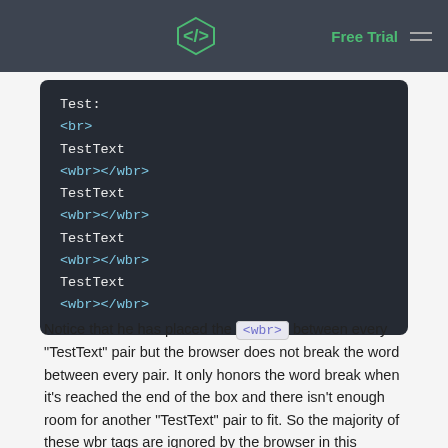Free Trial
[Figure (screenshot): Dark-themed code block showing HTML with Test:, <br>, and repeated TestText <wbr></wbr> pairs]
Notice that he has placed the <wbr> between every "TestText" pair but the browser does not break the word between every pair. It only honors the word break when it's reached the end of the box and there isn't enough room for another "TestText" pair to fit. So the majority of these wbr tags are ignored by the browser in this particular example.